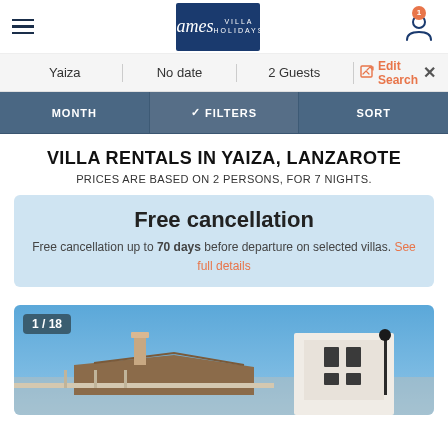James Villa Holidays — Navigation header with hamburger menu, logo, and user icon
Yaiza | No date | 2 Guests | Edit Search ✕
MONTH | ✓ FILTERS | SORT
VILLA RENTALS IN YAIZA, LANZAROTE
PRICES ARE BASED ON 2 PERSONS, FOR 7 NIGHTS.
Free cancellation
Free cancellation up to 70 days before departure on selected villas. See full details
[Figure (photo): Photo of a white villa building with blue sky, showing badge 1/18]